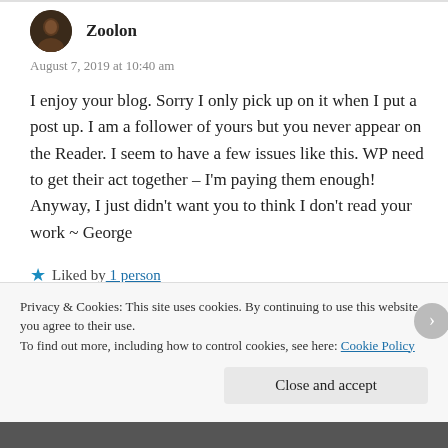Zoolon
August 7, 2019 at 10:40 am
I enjoy your blog. Sorry I only pick up on it when I put a post up. I am a follower of yours but you never appear on the Reader. I seem to have a few issues like this. WP need to get their act together – I'm paying them enough! Anyway, I just didn't want you to think I don't read your work ~ George
Liked by 1 person
REPLY
Privacy & Cookies: This site uses cookies. By continuing to use this website, you agree to their use. To find out more, including how to control cookies, see here: Cookie Policy
Close and accept